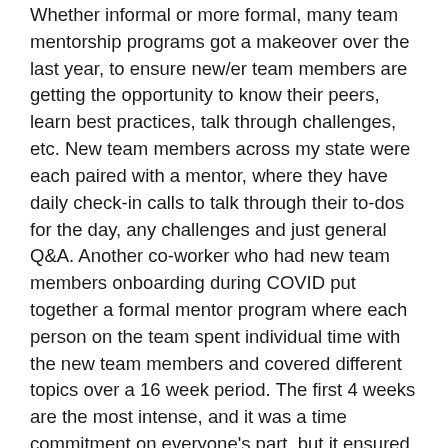Whether informal or more formal, many team mentorship programs got a makeover over the last year, to ensure new/er team members are getting the opportunity to know their peers, learn best practices, talk through challenges, etc. New team members across my state were each paired with a mentor, where they have daily check-in calls to talk through their to-dos for the day, any challenges and just general Q&A. Another co-worker who had new team members onboarding during COVID put together a formal mentor program where each person on the team spent individual time with the new team members and covered different topics over a 16 week period. The first 4 weeks are the most intense, and it was a time commitment on everyone's part, but it ensured that they spent time with everyone over that 16 week period and got to know their new co-workers one on one!
10 - Virtual Book Clubs